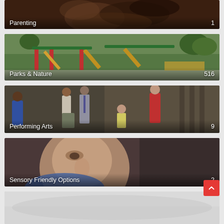[Figure (photo): Parenting category card showing hands intertwined, labeled 'Parenting' with count 1]
[Figure (photo): Parks & Nature category card showing a colorful playground with slides and climbing structures, labeled 'Parks & Nature' with count 516]
[Figure (photo): Performing Arts category card showing people outdoors in vintage clothing, labeled 'Performing Arts' with count 9]
[Figure (photo): Sensory Friendly Options category card showing a close-up of a child's face, labeled 'Sensory Friendly Options' with count 2]
[Figure (photo): Partially visible bottom category card, content not fully visible]